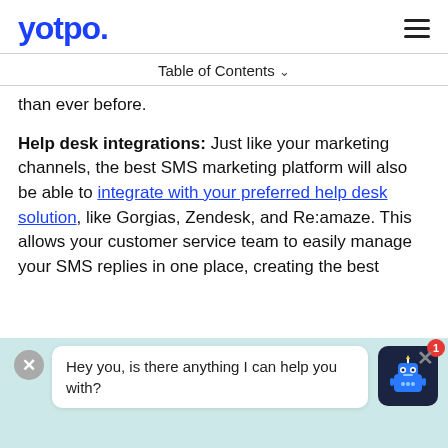yotpo.
Table of Contents
than ever before.
Help desk integrations: Just like your marketing channels, the best SMS marketing platform will also be able to integrate with your preferred help desk solution, like Gorgias, Zendesk, and Re:amaze. This allows your customer service team to easily manage your SMS replies in one place, creating the best
Introducing Yotpo Subscriptions! Making retention
Hey you, is there anything I can help you with?